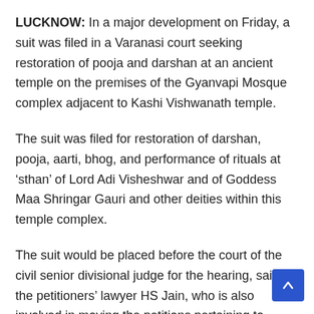LUCKNOW: In a major development on Friday, a suit was filed in a Varanasi court seeking restoration of pooja and darshan at an ancient temple on the premises of the Gyanvapi Mosque complex adjacent to Kashi Vishwanath temple.
The suit was filed for restoration of darshan, pooja, aarti, bhog, and performance of rituals at ‘sthan’ of Lord Adi Visheshwar and of Goddess Maa Shringar Gauri and other deities within this temple complex.
The suit would be placed before the court of the civil senior divisional judge for the hearing, said the petitioners’ lawyer HS Jain, who is also involved in moving the petitions pertaining to